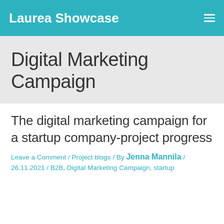Laurea Showcase
Digital Marketing Campaign
The digital marketing campaign for a startup company-project progress
Leave a Comment / Project blogs / By Jenna Mannila / 26.11.2021 / B2B, Digital Marketing Campaign, startup